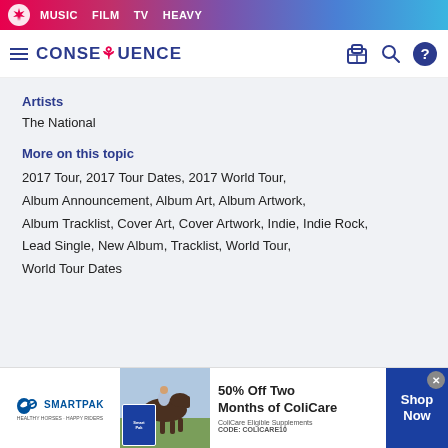MUSIC  FILM  TV  HEAVY
CONSEQUENCE
Artists
The National
More on this topic
2017 Tour, 2017 Tour Dates, 2017 World Tour, Album Announcement, Album Art, Album Artwork, Album Tracklist, Cover Art, Cover Artwork, Indie, Indie Rock, Lead Single, New Album, Tracklist, World Tour, World Tour Dates
Leave a comment
[Figure (screenshot): SmartPak advertisement banner showing a horse and rider, promoting 50% Off Two Months of ColiCare with code COLICARE10]